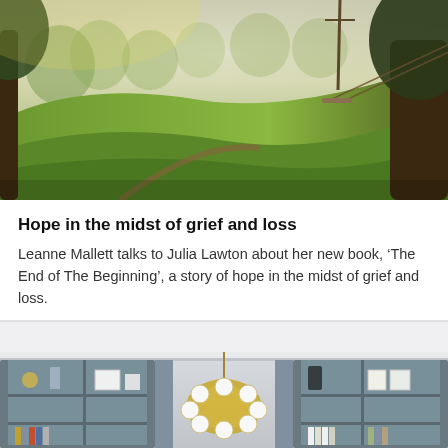[Figure (photo): Scenic outdoor landscape showing a green hillside with large trees, misty background, and a rope swing hanging from a tree. Warm golden light illuminating the grass.]
Hope in the midst of grief and loss
Leanne Mallett talks to Julia Lawton about her new book, ‘The End of The Beginning’, a story of hope in the midst of grief and loss.
[Figure (photo): Interior room with slate-blue built-in bookshelves filled with decorative objects and books. A large ornate gold chandelier with white globe bulbs hangs in the center. The shelves contain vases, framed art, and decorative items.]